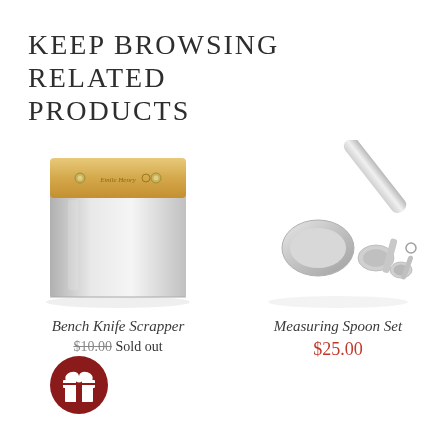KEEP BROWSING RELATED PRODUCTS
[Figure (photo): Bench knife scrapper with wooden handle branded 'Emile Henry', stainless steel blade]
Bench Knife Scrapper
$10.00 Sold out
[Figure (photo): Stainless steel measuring spoon set with large scoop and smaller spoons on a ring]
Measuring Spoon Set
$25.00
[Figure (illustration): Dark red circular gift badge icon with white gift box symbol]